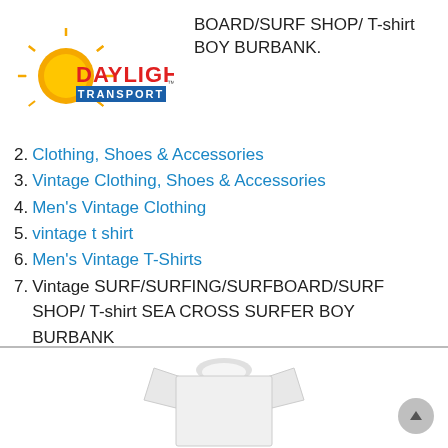[Figure (logo): Daylight Transport logo with sun graphic and red/blue/yellow text]
BOARD/SURF SHOP/ T-shirt BOY BURBANK.
2. Clothing, Shoes & Accessories
3. Vintage Clothing, Shoes & Accessories
4. Men's Vintage Clothing
5. vintage t shirt
6. Men's Vintage T-Shirts
7. Vintage SURF/SURFING/SURFBOARD/SURF SHOP/ T-shirt SEA CROSS SURFER BOY BURBANK
[Figure (photo): White t-shirt product photo, partially visible at bottom of page]